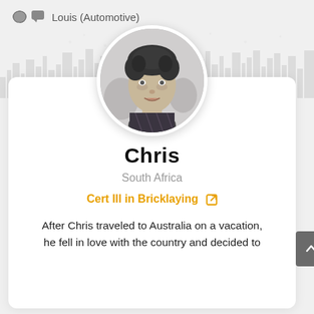Louis (Automotive)
[Figure (illustration): Background world map / city skyline silhouette decoration in light gray]
[Figure (photo): Circular black and white profile photo of a young man named Chris]
Chris
South Africa
Cert III in Bricklaying
After Chris traveled to Australia on a vacation, he fell in love with the country and decided to